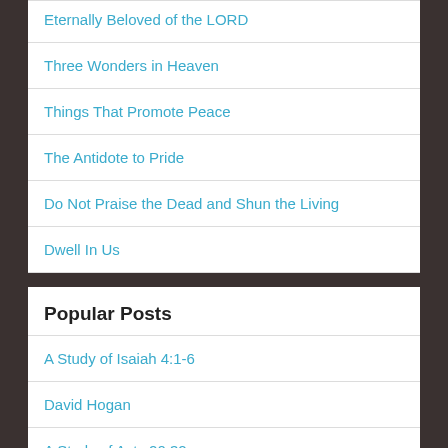Eternally Beloved of the LORD
Three Wonders in Heaven
Things That Promote Peace
The Antidote to Pride
Do Not Praise the Dead and Shun the Living
Dwell In Us
Popular Posts
A Study of Isaiah 4:1-6
David Hogan
A Study of Acts 20:32
A Study of Jeremiah 31:21-22
The Heresy of Dispensationalism